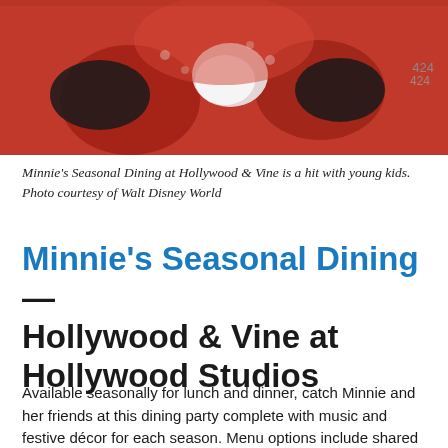[Figure (photo): Photo of Minnie Mouse character in red costume with black gloves and white gloved hands, standing outdoors at a Disney park. A building with a numeric address is visible in the background.]
Minnie's Seasonal Dining at Hollywood & Vine is a hit with young kids. Photo courtesy of Walt Disney World
Minnie's Seasonal Dining—Hollywood & Vine at Hollywood Studios
Available seasonally for lunch and dinner, catch Minnie and her friends at this dining party complete with music and festive décor for each season. Menu options include shared appetizers and individual entrees and desserts. Reservations are recommended.